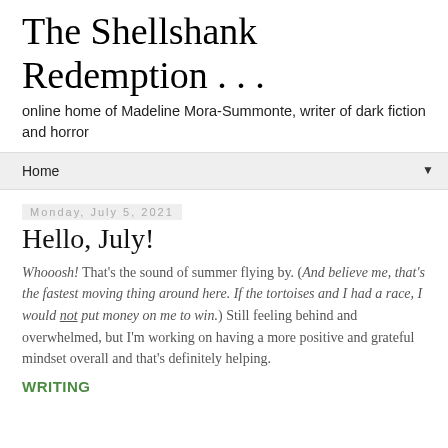The Shellshank Redemption . . .
online home of Madeline Mora-Summonte, writer of dark fiction and horror
Home ▼
Monday, July 5, 2021
Hello, July!
Whooosh! That's the sound of summer flying by. (And believe me, that's the fastest moving thing around here. If the tortoises and I had a race, I would not put money on me to win.) Still feeling behind and overwhelmed, but I'm working on having a more positive and grateful mindset overall and that's definitely helping.
WRITING